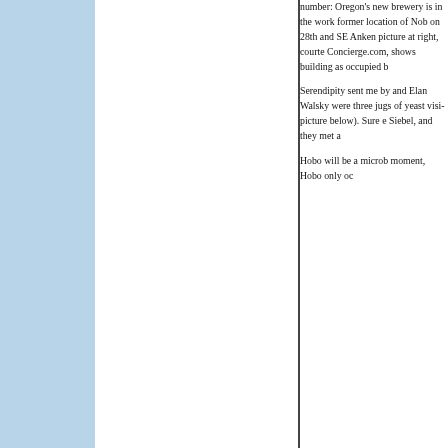number: Oregon's new brewery is in the works, former location of Nob on 28th and SE Anken picture at right, courte Concierge.com, shows building as occupied b
Serendipity sent me by and Elan Walsky were three jugs of yeast visi picture below). Sure e Siebel, and they met a
Hobo will be a microb moment, Hobo only oc
[Figure (photo): Two people (a woman with long blonde hair wearing a green cardigan/jacket and a man with short dark hair wearing a green polo shirt) standing together indoors, possibly in a brewery or bar setting with dark background.]